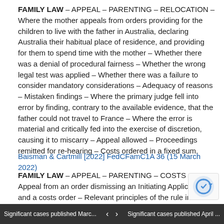FAMILY LAW – APPEAL – PARENTING – RELOCATION – Where the mother appeals from orders providing for the children to live with the father in Australia, declaring Australia their habitual place of residence, and providing for them to spend time with the mother – Whether there was a denial of procedural fairness – Whether the wrong legal test was applied – Whether there was a failure to consider mandatory considerations – Adequacy of reasons – Mistaken findings – Where the primary judge fell into error by finding, contrary to the available evidence, that the father could not travel to France – Where the error is material and critically fed into the exercise of discretion, causing it to miscarry – Appeal allowed – Proceedings remitted for re-hearing – Costs ordered in a fixed sum.
Baisman & Cartmill [2022] FedCFamC1A 36 (15 March 2022)
FAMILY LAW – APPEAL – PARENTING – COSTS – Appeal from an order dismissing an Initiating Application and a costs order – Relevant principles of the rule in Rice and Asplund [1978] FamCAFC 128; (1979) FLC 90-725 – Whether the primary judge erred in the application of the rule – Discretionary judgment – Weight challenges – Procedural fairness – Where appellate intervention in relation to costs only mandated if there is either obvious injustice or wrong application of principle – No error established – Appeal dismissed –
Significant cases published Marc... | < > | Significant cases published April ...